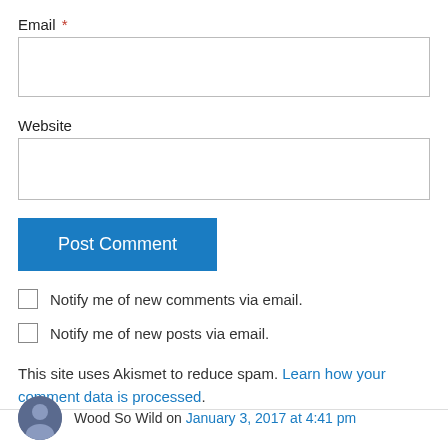Email *
Website
Post Comment
Notify me of new comments via email.
Notify me of new posts via email.
This site uses Akismet to reduce spam. Learn how your comment data is processed.
Wood So Wild on January 3, 2017 at 4:41 pm